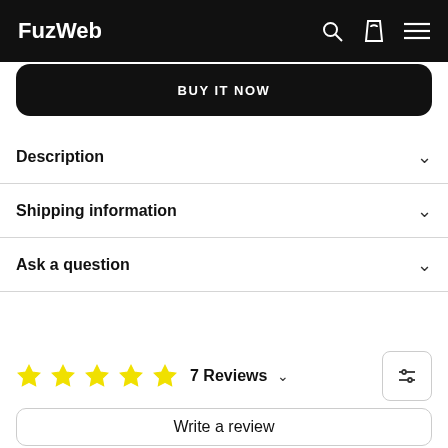FuzWeb
BUY IT NOW
Description
Shipping information
Ask a question
7 Reviews
Write a review